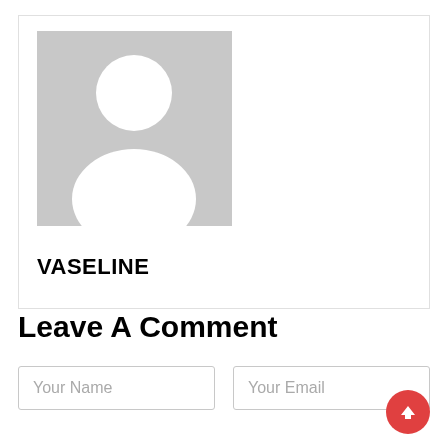[Figure (illustration): Gray placeholder avatar image showing a generic person silhouette (head and shoulders) on a gray background]
VASELINE
Leave A Comment
Your Name
Your Email